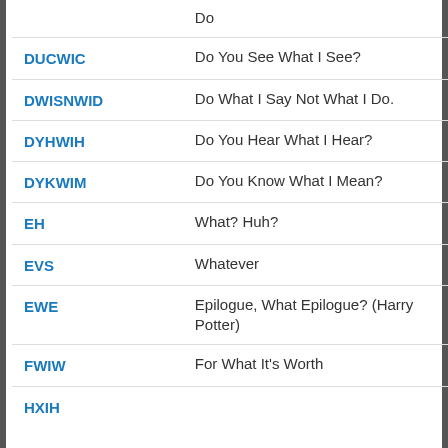| Abbreviation | Meaning |
| --- | --- |
|  | Do |
| DUCWIC | Do You See What I See? |
| DWISNWID | Do What I Say Not What I Do. |
| DYHWIH | Do You Hear What I Hear? |
| DYKWIM | Do You Know What I Mean? |
| EH | What? Huh? |
| EVS | Whatever |
| EWE | Epilogue, What Epilogue? (Harry Potter) |
| FWIW | For What It's Worth |
| HXIH | How What I Is? |